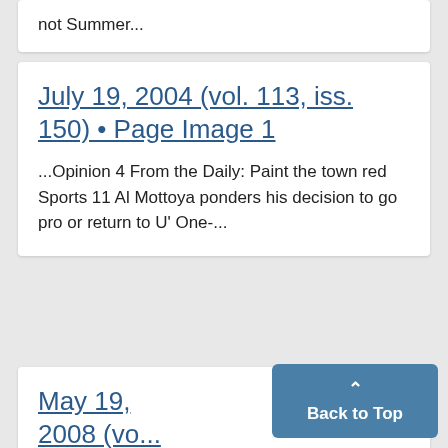not Summer...
July 19, 2004 (vol. 113, iss. 150) • Page Image 1
...Opinion 4 From the Daily: Paint the town red Sports 11 Al Mottoya ponders his decision to go pro or return to U' One-...
May 19, 2008 (vo...